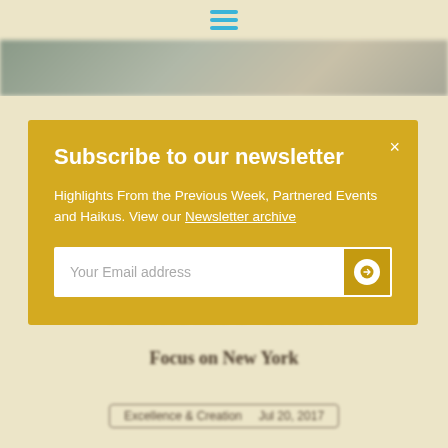[Figure (screenshot): Hamburger menu icon with three horizontal blue lines, used as navigation toggle]
[Figure (photo): Blurred hero image banner at the top of the page]
Subscribe to our newsletter
Highlights From the Previous Week, Partnered Events and Haikus. View our Newsletter archive
Your Email address
Montreal's Classe
Focus on New York
Excellence & Creation   Jul 20, 2017